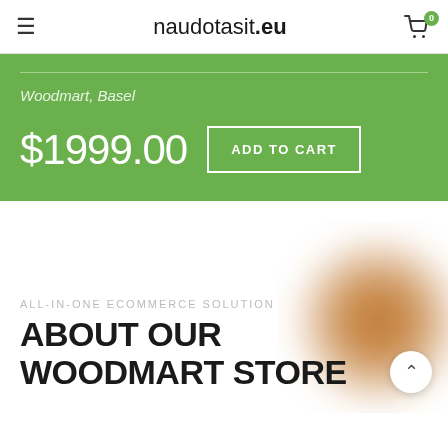naudotasit.eu
Woodmart, Basel
$1999.00
ADD TO CART
[Figure (illustration): Brown blurred circular blob decorative element on white background]
ALL-IN-ONE ECOMMERCE SOLUTION
ABOUT OUR WOODMART STORE